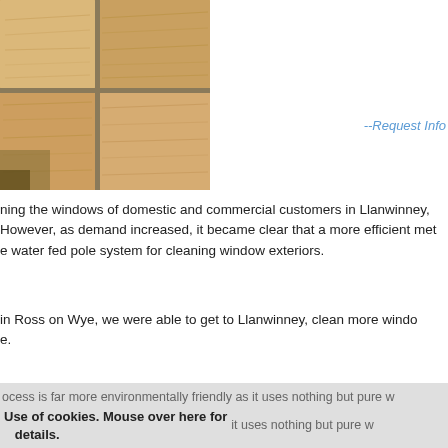[Figure (photo): Close-up photo of sandy/tan textured stone or paving slabs with mortar joints, shot from an angle showing the textured surface and joints between rectangular stone blocks.]
--Request Info
ning the windows of domestic and commercial customers in Llanwinney, However, as demand increased, it became clear that a more efficient met e water fed pole system for cleaning window exteriors.
in Ross on Wye, we were able to get to Llanwinney, clean more windo e.
ocess is far more environmentally friendly as it uses nothing but pure w Use of cookies. Mouse over here for details.